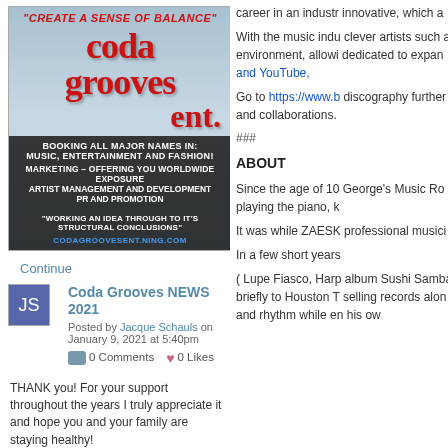[Figure (illustration): Coda Grooves Entertainment advertisement banner with logo, taglines, and services listed]
Continue
Coda Grooves NEWS 2021
Posted by Jacque Schauls on January 9, 2021 at 5:40pm
0 Comments   0 Likes
THANK you! For your support throughout the years I truly appreciate it and hope you and your family are staying healthy!
#1 Celebrity Video Drop request for Coda Grooves Entertainment
career in an industry innovative, which a
With the music indu clever artists such a environment, allowi dedicated to expan and YouTube,
Go to https://www.b discography further and collaborations.
###
ABOUT
Since the age of 10 George's Music Ro playing the piano, k
It was while ZAESK professional musici
In a few short years
( Lupe Fiasco, Harp album Sushi Samba briefly to Houston T selling records alon and rhythm while en his ow